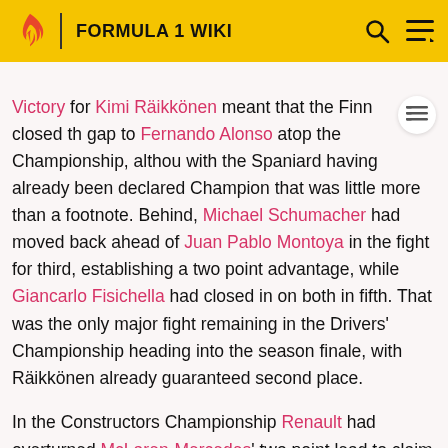FORMULA 1 WIKI
Victory for Kimi Räikkönen meant that the Finn closed the gap to Fernando Alonso atop the Championship, although with the Spaniard having already been declared Champion that was little more than a footnote. Behind, Michael Schumacher had moved back ahead of Juan Pablo Montoya in the fight for third, establishing a two point advantage, while Giancarlo Fisichella had closed in on both in fifth. That was the only major fight remaining in the Drivers' Championship heading into the season finale, with Räikkönen already guaranteed second place.
In the Constructors Championship Renault had overturned McLaren-Mercedes' two point lead to claim a two point lead of their own, meaning there would still be a crown to